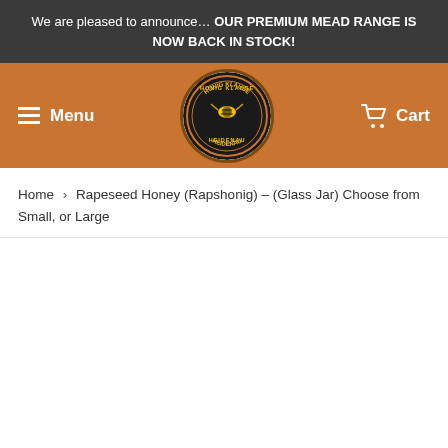We are pleased to announce… OUR PREMIUM MEAD RANGE IS NOW BACK IN STOCK!
[Figure (logo): Honig Klause Heidenau circular logo — dark circle with gold text and bee illustration]
Menu
Cart
Home › Rapeseed Honey (Rapshonig) – (Glass Jar) Choose from Small, or Large